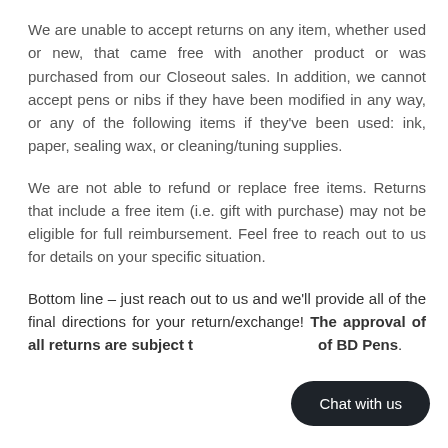We are unable to accept returns on any item, whether used or new, that came free with another product or was purchased from our Closeout sales. In addition, we cannot accept pens or nibs if they have been modified in any way, or any of the following items if they've been used: ink, paper, sealing wax, or cleaning/tuning supplies.
We are not able to refund or replace free items. Returns that include a free item (i.e. gift with purchase) may not be eligible for full reimbursement. Feel free to reach out to us for details on your specific situation.
Bottom line – just reach out to us and we'll provide all of the final directions for your return/exchange! The approval of all returns are subject to the discretion of BD Pens.
[Figure (other): Dark rounded button overlay with text 'Chat with us']